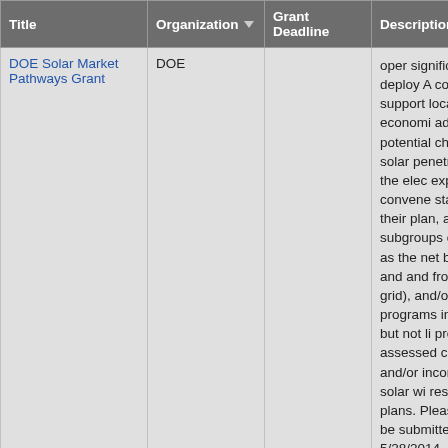| Title | Organization ▼ | Grant Deadline | Description |
| --- | --- | --- | --- |
| DOE Solar Market Pathways Grant | DOE |  | oper significant solar deploy... costs, support local economi... address the potential challen... solar penetration on the elec... expected to convene stakeh... their plan, and subgroups co... such as the net benefits and ... and from the grid), and/or de... programs including, but not li... property assessed clean ene... and/or incorporating solar wi... response plans. Please note... be submitted by 5/28/2014, b... due until 7/2/2014. Also note... at the website provided by se... 0001071. |
|  |  |  | Grant Status Unknown. Ad... technologies and systems ca... effective delivery of new buil... significantly lower building en... seeks to fund demonstration... for technologies that are rea... |